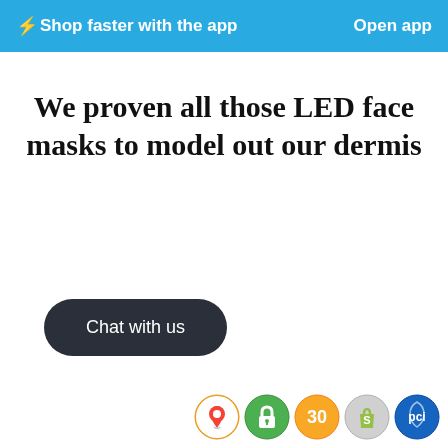⚡Shop faster with the app   Open app
We proven all those LED face masks to model out our dermis
Chat with us
[Figure (illustration): Footer trust badge icons: Google Maps pin, green lock/security badge, yellow 30-day badge, Shopify bag badge, PCI compliance badge]